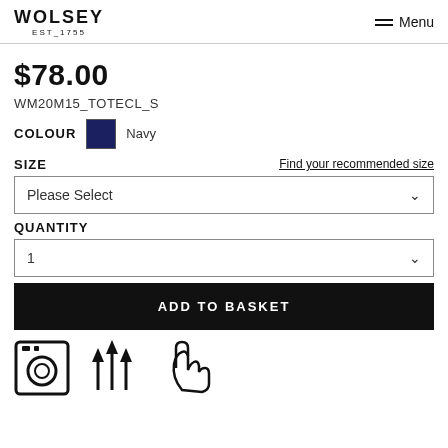WOLSEY EST_1755 Menu
$78.00
WM20M15_TOTECL_S
COLOUR  Navy
SIZE
Find your recommended size
Please Select
QUANTITY
1
ADD TO BASKET
[Figure (illustration): Three care/product icons: washing machine, upward arrows, and hand gesture icons]